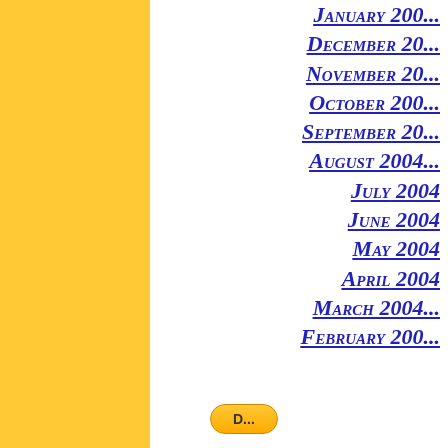[Figure (other): Gold/yellow vertical sidebar bar on left side of page]
January 200...
December 20...
November 20...
October 200...
September 20...
August 2004...
July 2004
June 2004
May 2004
April 2004
March 2004...
February 200...